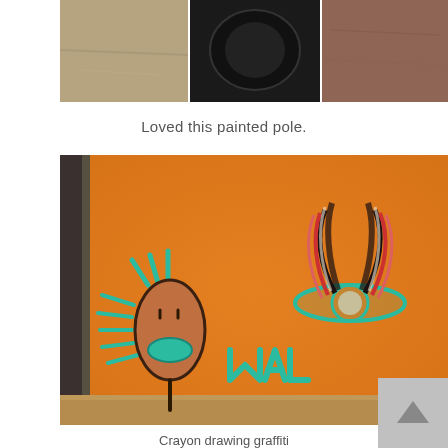[Figure (photo): Top portion of a painted pole photo — shows pavement, dark graffiti/paint, and textured wall surface]
Loved this painted pole.
[Figure (photo): Orange painted pole with crayon/chalk graffiti drawings: a cartoon face figure on the left with teal hair and mouth, the word MAL in teal letters in the center, and a stylized flower/asterisk symbol in red and teal on the right]
Crayon drawing graffiti